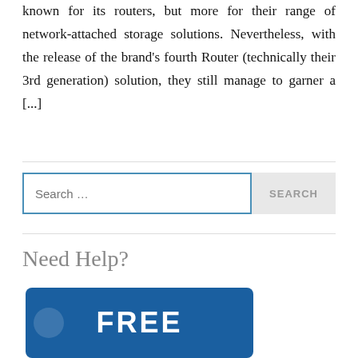known for its routers, but more for their range of network-attached storage solutions. Nevertheless, with the release of the brand's fourth Router (technically their 3rd generation) solution, they still manage to garner a [...]
Search ...
Need Help?
[Figure (illustration): Blue rounded banner with bold white text reading FREE]